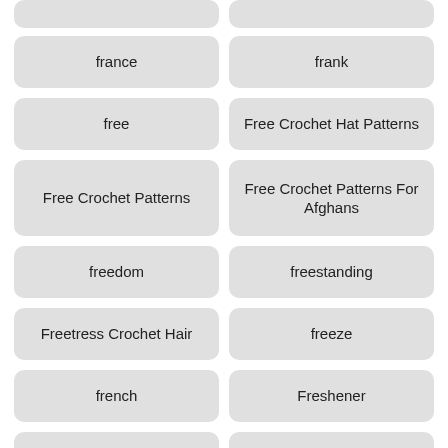france
frank
free
Free Crochet Hat Patterns
Free Crochet Patterns
Free Crochet Patterns For Afghans
freedom
freestanding
Freetress Crochet Hair
freeze
french
Freshener
Freshie
Freshies
fridge
Friend
friendly
friends